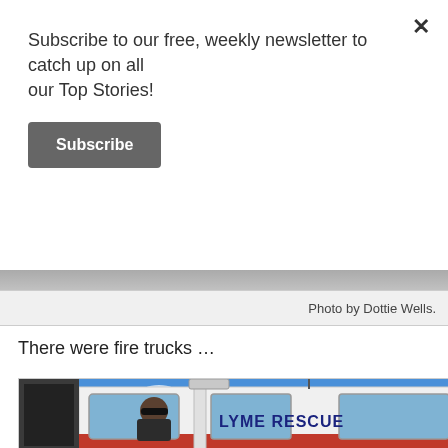Subscribe to our free, weekly newsletter to catch up on all our Top Stories!
Subscribe
Photo by Dottie Wells.
There were fire trucks …
[Figure (photo): Lyme Rescue fire truck with a person in the driver's seat wearing sunglasses, blue sky in background, 'LYME RESCUE' text visible on the white truck cab.]